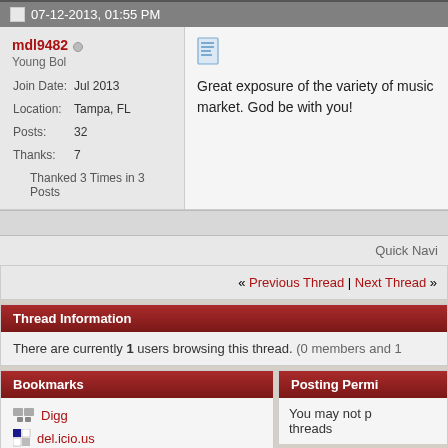07-12-2013, 01:55 PM
mdl9482
Young Bol
Join Date: Jul 2013
Location: Tampa, FL
Posts: 32
Thanks: 7
Thanked 3 Times in 3 Posts
Great exposure of the variety of music market. God be with you!
Quick Navi
« Previous Thread | Next Thread »
Thread Information
There are currently 1 users browsing this thread. (0 members and 1
Bookmarks
Digg
del.icio.us
Posting Permi
You may not p threads